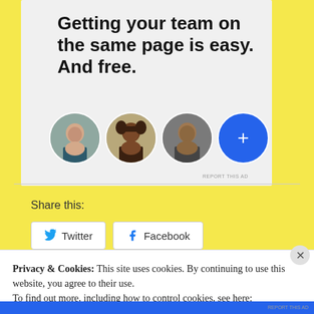[Figure (illustration): Advertisement card with light grey background showing bold text 'Getting your team on the same page is easy. And free.' with four circular avatar images below (three people photos and one blue plus button)]
Share this:
[Figure (infographic): Twitter share button with Twitter bird icon and text 'Twitter']
[Figure (infographic): Facebook share button with Facebook 'f' icon and text 'Facebook']
Privacy & Cookies: This site uses cookies. By continuing to use this website, you agree to their use.
To find out more, including how to control cookies, see here:
Cookie Policy
Close and accept